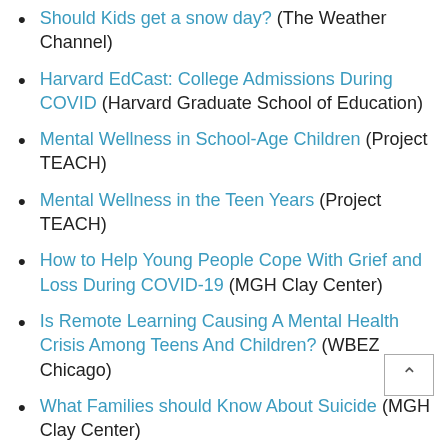Should Kids get a snow day? (The Weather Channel)
Harvard EdCast: College Admissions During COVID (Harvard Graduate School of Education)
Mental Wellness in School-Age Children (Project TEACH)
Mental Wellness in the Teen Years (Project TEACH)
How to Help Young People Cope With Grief and Loss During COVID-19 (MGH Clay Center)
Is Remote Learning Causing A Mental Health Crisis Among Teens And Children? (WBEZ Chicago)
What Families should Know About Suicide (MGH Clay Center)
Supporting Your Family's Emotional Health During COVID-19 (MGH Clay Center)
The Nuts and Bolts of Telepsychiatry